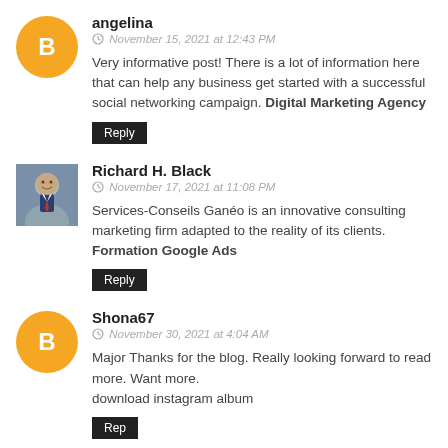[Figure (illustration): Orange circle avatar with white Blogger 'B' icon]
angelina
November 15, 2021 at 12:43 PM
Very informative post! There is a lot of information here that can help any business get started with a successful social networking campaign. Digital Marketing Agency
Reply
[Figure (photo): Photo of Richard H. Black - man in suit smiling]
Richard H. Black
November 17, 2021 at 11:08 PM
Services-Conseils Ganéo is an innovative consulting marketing firm adapted to the reality of its clients. Formation Google Ads
Reply
[Figure (illustration): Orange circle avatar with white Blogger 'B' icon]
Shona67
November 30, 2021 at 4:04 AM
Major Thanks for the blog. Really looking forward to read more. Want more.
download instagram album
Reply